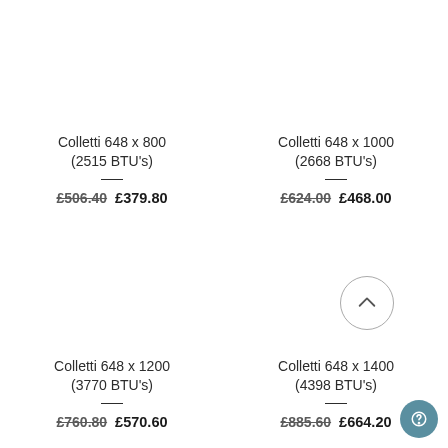Colletti 648 x 800 (2515 BTU's)
£506.40  £379.80
Colletti 648 x 1000 (2668 BTU's)
£624.00  £468.00
Colletti 648 x 1200 (3770 BTU's)
£760.80  £570.60
Colletti 648 x 1400 (4398 BTU's)
£885.60  £664.20